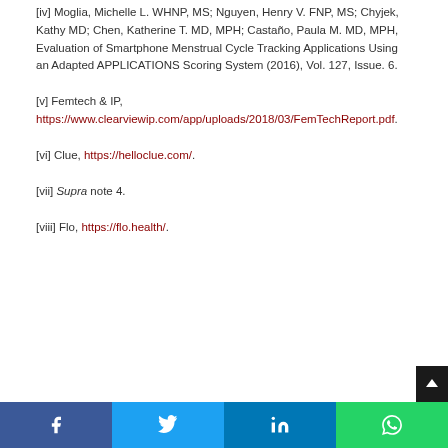[iv] Moglia, Michelle L. WHNP, MS; Nguyen, Henry V. FNP, MS; Chyjek, Kathy MD; Chen, Katherine T. MD, MPH; Castaño, Paula M. MD, MPH, Evaluation of Smartphone Menstrual Cycle Tracking Applications Using an Adapted APPLICATIONS Scoring System (2016), Vol. 127, Issue. 6.
[v] Femtech & IP, https://www.clearviewip.com/app/uploads/2018/03/FemTechReport.pdf.
[vi] Clue, https://helloclue.com/.
[vii] Supra note 4.
[viii] Flo, https://flo.health/.
Social share bar: Facebook, Twitter, LinkedIn, WhatsApp